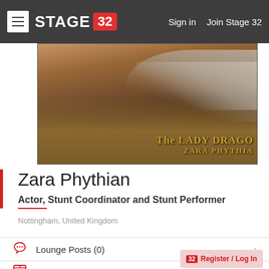STAGE 32 | Sign in  Join Stage 32
[Figure (photo): Profile banner image showing a beach scene with a person kneeling on sand near ocean waves. Text overlay reads 'The LADY DRAGO' and 'ZARA PHYTHIA' in gold letters.]
Zara Phythian
Actor, Stunt Coordinator and Stunt Performer
Nottingham, United Kingdom
Lounge Posts (0)
Zara's Wall (82)